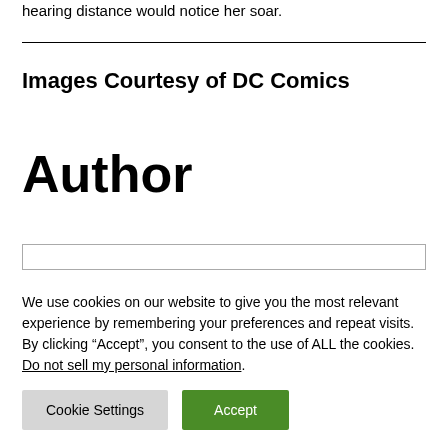hearing distance would notice her soar.
Images Courtesy of DC Comics
Author
We use cookies on our website to give you the most relevant experience by remembering your preferences and repeat visits. By clicking “Accept”, you consent to the use of ALL the cookies.
Do not sell my personal information.